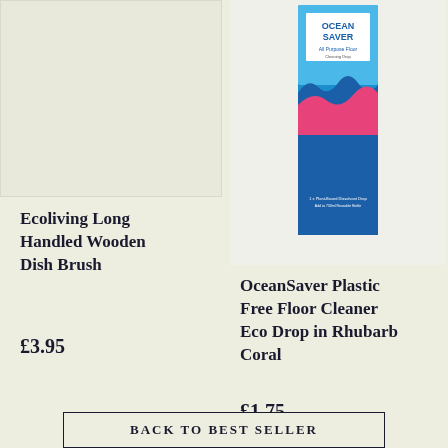[Figure (photo): Left product image area - plain beige/cream background, empty product image placeholder for Ecoliving Long Handled Wooden Dish Brush]
[Figure (photo): OceanSaver All Purpose Floor cleaner product box - tall rectangular box with blue background and pink/dark blue wavy design, branded OCEAN SAVER All Purpose Floor]
Ecoliving Long Handled Wooden Dish Brush
£3.95
OceanSaver Plastic Free Floor Cleaner Eco Drop in Rhubarb Coral
£1.75
BACK TO BEST SELLER